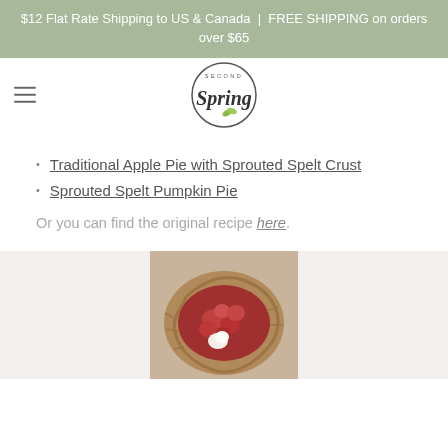$12 Flat Rate Shipping to US & Canada  |  FREE SHIPPING on orders over $65
[Figure (logo): Second Spring circular logo with cursive text and green leaf accent]
Traditional Apple Pie with Sprouted Spelt Crust
Sprouted Spelt Pumpkin Pie
Or you can find the original recipe here.
[Figure (photo): A rustic galette or free-form pie with a spelt crust, filled with red strawberries and other fruit, with a dollop of cream, photographed from above on a light surface]